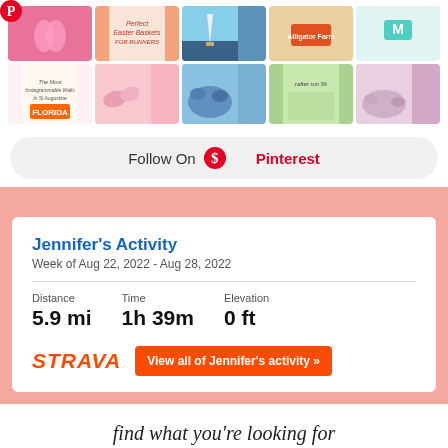[Figure (screenshot): Pinterest grid of photos including nails, travel, Easter baskets, Florida sign, and lifestyle images]
Follow On Pinterest
Jennifer's Activity
Week of Aug 22, 2022 - Aug 28, 2022
| Distance | Time | Elevation |
| --- | --- | --- |
| 5.9 mi | 1h 39m | 0 ft |
[Figure (logo): STRAVA logo in orange italic bold text]
View all of Jennifer's activity »
find what you're looking for